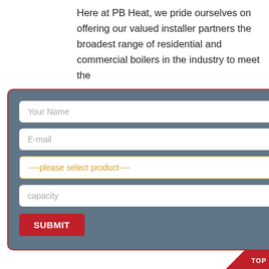Here at PB Heat, we pride ourselves on offering our valued installer partners the broadest range of residential and commercial boilers in the industry to meet the
[Figure (screenshot): A modal dialog/popup form with a dark blue-grey background and red border. Contains fields: Your Name, E-mail, a product selector dropdown reading '----please select product----', a capacity field, and a red SUBMIT button. An X close button appears top right.]
Perhaps you want to improve your heating boiler efficiency and lower your fuel costs. Items to consider in selecting a new boiler for your home. Type of fuel- generally n